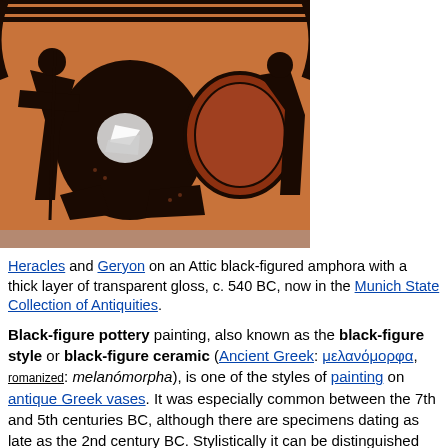[Figure (photo): An Attic black-figured amphora showing Heracles and Geryon. The amphora has an orange-red background with black figures depicting warriors with shields and weapons. A large black shield with a white bird emblem is prominent in the center. The vase has two handles visible at the top.]
Heracles and Geryon on an Attic black-figured amphora with a thick layer of transparent gloss, c. 540 BC, now in the Munich State Collection of Antiquities.
Black-figure pottery painting, also known as the black-figure style or black-figure ceramic (Ancient Greek: μελανόμορφα, romanized: melanómorpha), is one of the styles of painting on antique Greek vases. It was especially common between the 7th and 5th centuries BC, although there are specimens dating as late as the 2nd century BC. Stylistically it can be distinguished from the preceding orientalizing period and the subsequent red-figure pottery style.